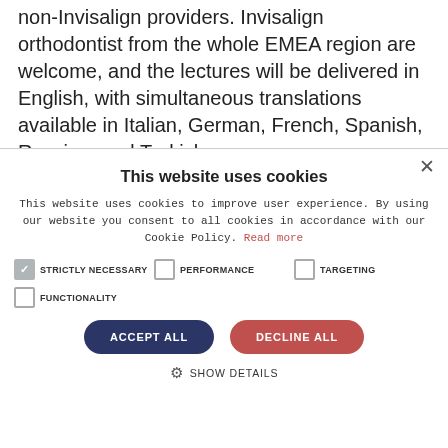non-Invisalign providers. Invisalign orthodontist from the whole EMEA region are welcome, and the lectures will be delivered in English, with simultaneous translations available in Italian, German, French, Spanish, Russian, and Turkish.
This website uses cookies
This website uses cookies to improve user experience. By using our website you consent to all cookies in accordance with our Cookie Policy. Read more
STRICTLY NECESSARY (checked), PERFORMANCE (unchecked), TARGETING (unchecked)
FUNCTIONALITY (unchecked)
ACCEPT ALL | DECLINE ALL
SHOW DETAILS